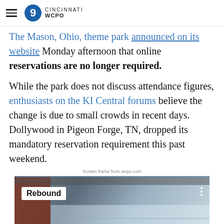WCPO Cincinnati
The Mason, Ohio, theme park announced on its website Monday afternoon that online reservations are no longer required.
While the park does not discuss attendance figures, enthusiasts on the KI Central forums believe the change is due to small crowds in recent days. Dollywood in Pigeon Forge, TN, dropped its mandatory reservation requirement this past weekend.
Screen frame from wcpo.com
[Figure (screenshot): Video thumbnail showing a store interior with a 'Rebound' badge label in the top left corner and three vertical dots in the top right.]